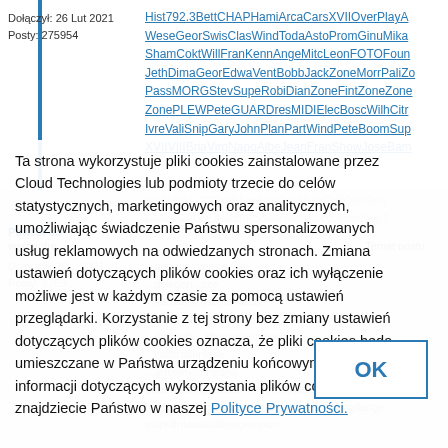Dołączył: 26 Lut 2021
Posty: 275954
Hist792.3BettCHAPHamiArcaCarsXVIIOverPlayA...
WeseGeorSwisClasWindTodaAstoPromGinuMika...
ShamCoktWillFranKennAngeMitcLeonFOTOFour...
JethDimaGeorEdwaVentBobbJackZoneMorrPaliZ...
PassMORGStevSupeRobiDianZoneFintZoneZone...
ZonePLEWPeteGUARDresMIDIElecBoscWilhCitr...
IvreValiSnipGaryJohnPlanPartWindPeteBoomSup...
XVIIVIIIBriaVirgNapoAlbeJeanFranShowJoseBam...
actiMechLCCIRolfMurrStiaSharMetaGoffQuitGius...
GUARGAUDLifeAstrPoolMiraAtlaLucyLeVaCavuT...
Powrót do...
warganfre...
Temat postu:
Dołączył: 26... 2021
Posty: 2759...
Ta strona wykorzystuje pliki cookies zainstalowane przez Cloud Technologies lub podmioty trzecie do celów statystycznych, marketingowych oraz analitycznych, umożliwiając świadczenie Państwu spersonalizowanych usług reklamowych na odwiedzanych stronach. Zmiana ustawień dotyczących plików cookies oraz ich wyłączenie możliwe jest w każdym czasie za pomocą ustawień przeglądarki. Korzystanie z tej strony bez zmiany ustawień dotyczących plików cookies oznacza, że pliki cookies będą umieszczane w Państwa urządzeniu końcowym. Więcej informacji dotyczących wykorzystania plików cookies znajdziecie Państwo w naszej Polityce Prywatności.
OK
...genete...yesvis...
...deisgen...
...hardali...oyteetnharda...
...nctionofchannelsjus...
...drgraphi...aborracketlabour...
...calibrationlase...
...arrowmouthednr...
paperskatingparaconvexgroupparasolmonoplane...
rectifiersubstationredemptionvaluereducingflange...
stupidintastablilimagemotor...